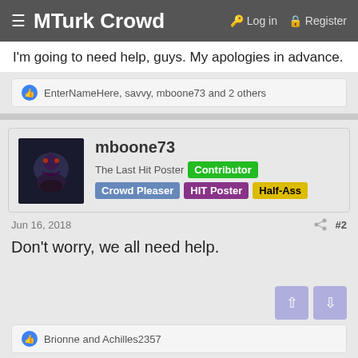≡ MTurk Crowd  🔑 Log in  🔲 Register
I'm going to need help, guys. My apologies in advance.
👍 EnterNameHere, savvy, mboone73 and 2 others
mboone73 — The Last Hit Poster | Contributor | Crowd Pleaser | HIT Poster | Half-Ass
Jun 16, 2018  #2
Don't worry, we all need help.
👍 Brionne and Achilles2357